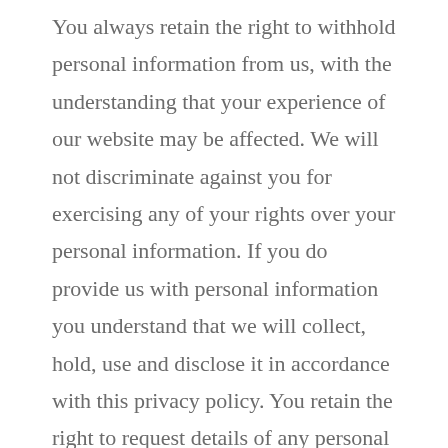You always retain the right to withhold personal information from us, with the understanding that your experience of our website may be affected. We will not discriminate against you for exercising any of your rights over your personal information. If you do provide us with personal information you understand that we will collect, hold, use and disclose it in accordance with this privacy policy. You retain the right to request details of any personal information we hold about you.
If we receive personal information about